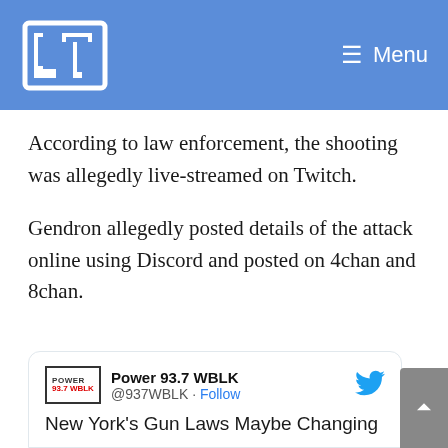LT — Menu
According to law enforcement, the shooting was allegedly live-streamed on Twitch.
Gendron allegedly posted details of the attack online using Discord and posted on 4chan and 8chan.
[Figure (screenshot): Embedded tweet from Power 93.7 WBLK (@937WBLK) with a Follow link and Twitter bird icon. Tweet text: New York's Gun Laws Maybe Changing Soon |]